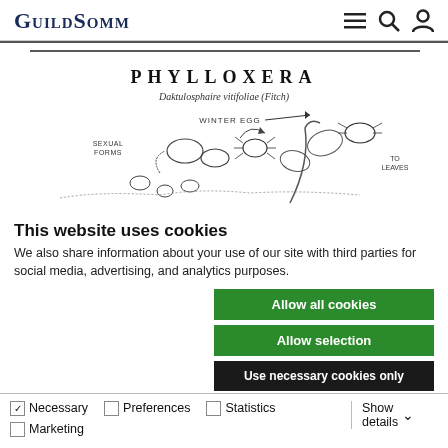GuildSomm
[Figure (illustration): Phylloxera scientific illustration with title 'PHYLLOXERA Daktulosphaire vitifoliae (Fitch)' and lifecycle diagram showing sexual forms, winter egg, and path to leaves]
This website uses cookies
We also share information about your use of our site with third parties for social media, advertising, and analytics purposes.
Allow all cookies
Allow selection
Use necessary cookies only
Necessary  Preferences  Statistics  Marketing  Show details